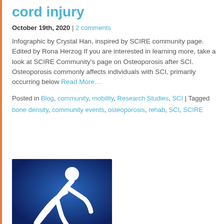cord injury
October 19th, 2020 | 2 comments
Infographic by Crystal Han, inspired by SCIRE community page. Edited by Rona Herzog If you are interested in learning more, take a look at SCIRE Community's page on Osteoporosis after SCI. Osteoporosis commonly affects individuals with SCI, primarily occurring below Read More…
Posted in Blog, community, mobility, Research Studies, SCI | Tagged bone density, community events, osteoporosis, rehab, SCI, SCIRE
[Figure (illustration): Blue gradient background with a white stick figure icon of a person leaning forward in a dynamic pose, suggesting movement or rehabilitation exercise.]